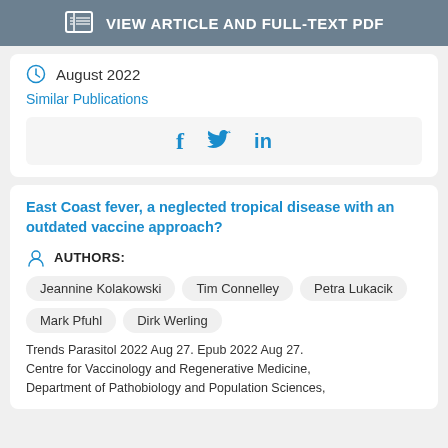VIEW ARTICLE AND FULL-TEXT PDF
August 2022
Similar Publications
[Figure (other): Social sharing icons: Facebook (f), Twitter (bird), LinkedIn (in)]
East Coast fever, a neglected tropical disease with an outdated vaccine approach?
AUTHORS:
Jeannine Kolakowski
Tim Connelley
Petra Lukacik
Mark Pfuhl
Dirk Werling
Trends Parasitol 2022 Aug 27. Epub 2022 Aug 27. Centre for Vaccinology and Regenerative Medicine, Department of Pathobiology and Population Sciences,